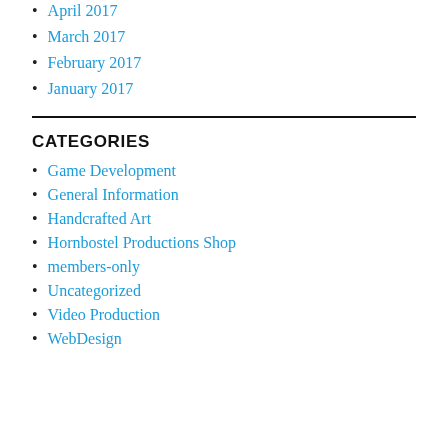April 2017
March 2017
February 2017
January 2017
CATEGORIES
Game Development
General Information
Handcrafted Art
Hornbostel Productions Shop
members-only
Uncategorized
Video Production
WebDesign